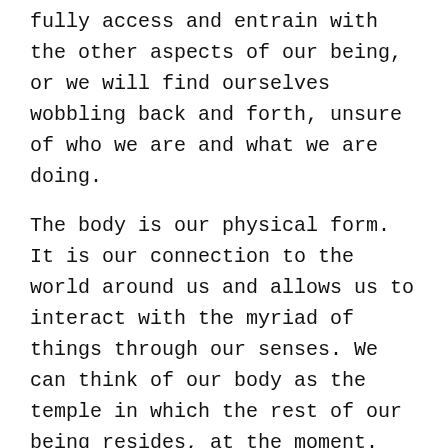fully access and entrain with the other aspects of our being, or we will find ourselves wobbling back and forth, unsure of who we are and what we are doing.
The body is our physical form. It is our connection to the world around us and allows us to interact with the myriad of things through our senses. We can think of our body as the temple in which the rest of our being resides, at the moment. The better care we take of the body, the longer it survives and the deeper we are able to explore the other aspects of our self. If we eat poorly, don't exercise and maintain shallow breathing habits, the body will grow weak and fragile, unable to meet our needs. On the other hand, If we eat healthy food, move our body regularly so that the joints and muscles get activated, and breathe long and deep so